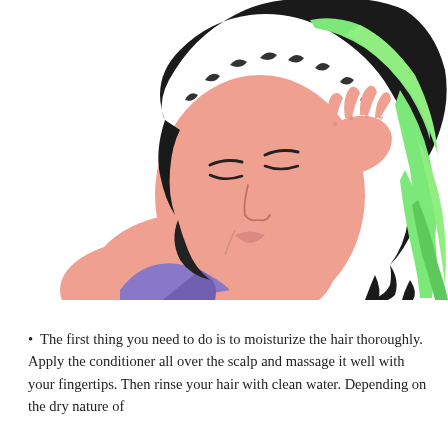[Figure (illustration): Illustration of a person with curly dark hair applying green conditioner to their hair with their hand. The person appears to be reclining, eyes closed, wearing a purple top. The hair has green conditioner streaks running through it.]
• The first thing you need to do is to moisturize the hair thoroughly. Apply the conditioner all over the scalp and massage it well with your fingertips. Then rinse your hair with clean water. Depending on the dry nature of